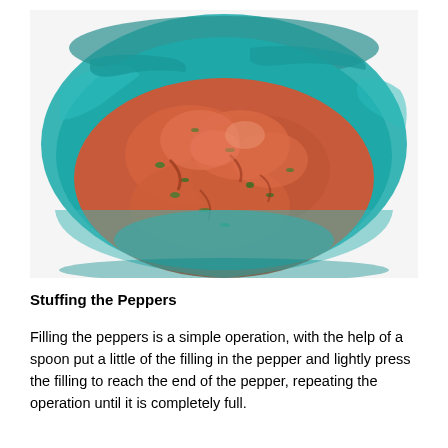[Figure (photo): Overhead view of a teal/turquoise bowl filled with a raw ground meat and vegetable filling mixture, showing ground meat mixed with green herbs and spices.]
Stuffing the Peppers
Filling the peppers is a simple operation, with the help of a spoon put a little of the filling in the pepper and lightly press the filling to reach the end of the pepper, repeating the operation until it is completely full.